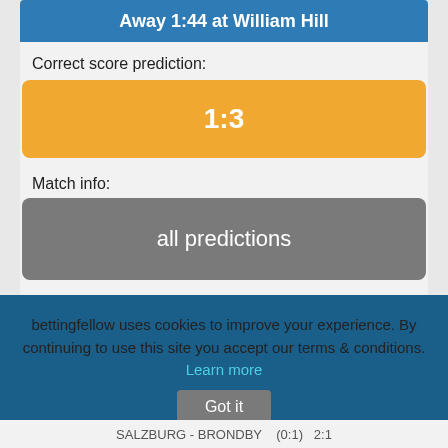Away 1:44 at William Hill
Correct score prediction:
1:3
Match info:
all predictions
bettingfellow uses cookies to improve your experience. By continuing to use this site you accept our terms & conditions. Learn more
Got it
SALZBURG - BRONDBY
(0:1)   2:1